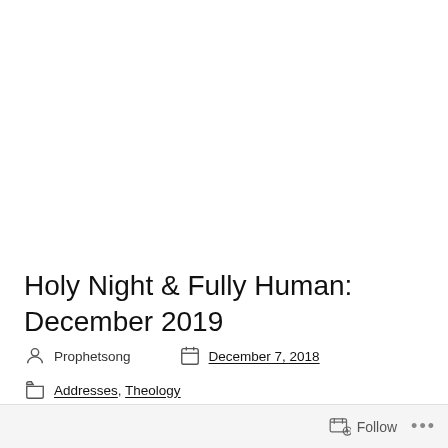Holy Night & Fully Human: December 2019
Prophetsong   December 7, 2018
Addresses, Theology
Follow ...